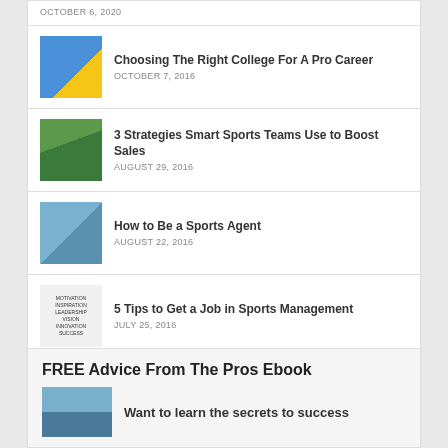OCTOBER 6, 2020
Choosing The Right College For A Pro Career
OCTOBER 7, 2016
3 Strategies Smart Sports Teams Use to Boost Sales
AUGUST 29, 2016
How to Be a Sports Agent
AUGUST 22, 2016
5 Tips to Get a Job in Sports Management
JULY 25, 2016
FREE Advice From The Pros Ebook
Want to learn the secrets to success